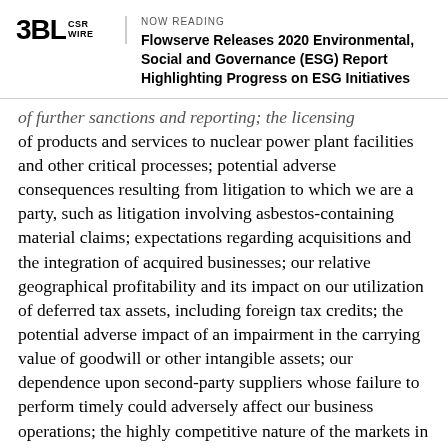NOW READING
Flowserve Releases 2020 Environmental, Social and Governance (ESG) Report Highlighting Progress on ESG Initiatives
of products and services to nuclear power plant facilities and other critical processes; potential adverse consequences resulting from litigation to which we are a party, such as litigation involving asbestos-containing material claims; expectations regarding acquisitions and the integration of acquired businesses; our relative geographical profitability and its impact on our utilization of deferred tax assets, including foreign tax credits; the potential adverse impact of an impairment in the carrying value of goodwill or other intangible assets; our dependence upon second-party suppliers whose failure to perform timely could adversely affect our business operations; the highly competitive nature of the markets in which we operate; environmental compliance costs and liabilities; potential adverse consequences the...